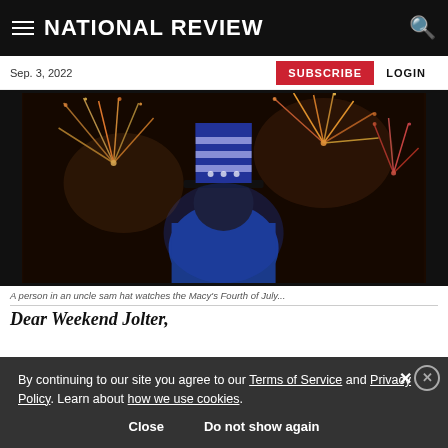NATIONAL REVIEW
Sep. 3, 2022
SUBSCRIBE  LOGIN
[Figure (photo): Person in an Uncle Sam hat watches fireworks display from behind, wearing blue shirt, against dark night sky with colorful fireworks exploding.]
A person in an uncle sam hat watches the Macy's Fourth of July...
Dear Weekend Jolter,
By continuing to our site you agree to our Terms of Service and Privacy Policy. Learn about how we use cookies.
Close   Do not show again